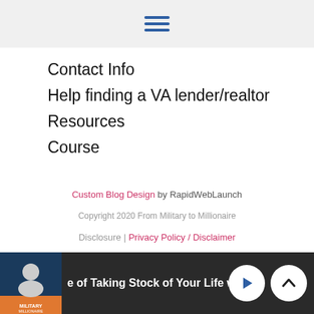hamburger menu icon
Contact Info
Help finding a VA lender/realtor
Resources
Course
Custom Blog Design by RapidWebLaunch
Copyright 2020 From Military to Millionaire
Disclosure | Privacy Policy / Disclaimer
e of Taking Stock of Your Life with D